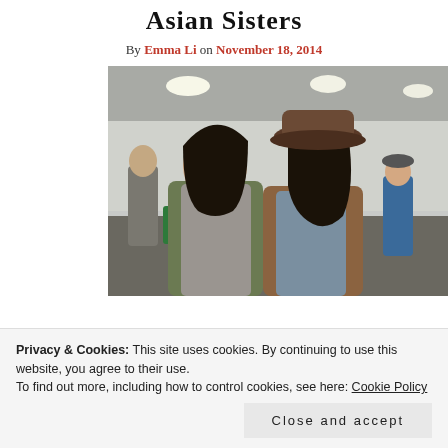Asian Sisters
By Emma Li on November 18, 2014
[Figure (photo): Two young Asian women smiling and posing together indoors in what appears to be a market or event space. The woman on the left wears a grey turtleneck and olive jacket. The woman on the right wears a brown blazer and a wide-brimmed hat. Other people are visible in the background.]
Privacy & Cookies: This site uses cookies. By continuing to use this website, you agree to their use.
To find out more, including how to control cookies, see here: Cookie Policy
Close and accept